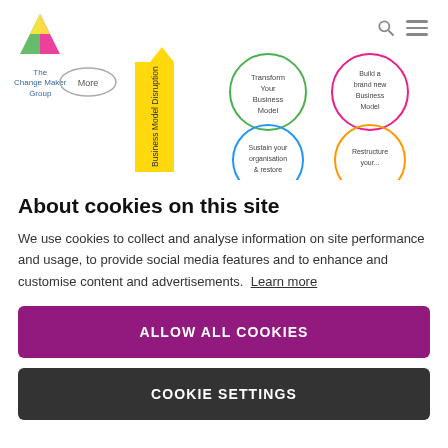[Figure (infographic): The Change Maker Group website screenshot showing a business model disruption diagram with colored circles labeled Transform Your Business Model, Build a brand new Business Model, Sustain your organisation & restore, Restructure your... and a yellow upward arrow labeled Business Model Disruption. Navigation bar with search and menu icons visible.]
About cookies on this site
We use cookies to collect and analyse information on site performance and usage, to provide social media features and to enhance and customise content and advertisements. Learn more
ALLOW ALL COOKIES
COOKIE SETTINGS